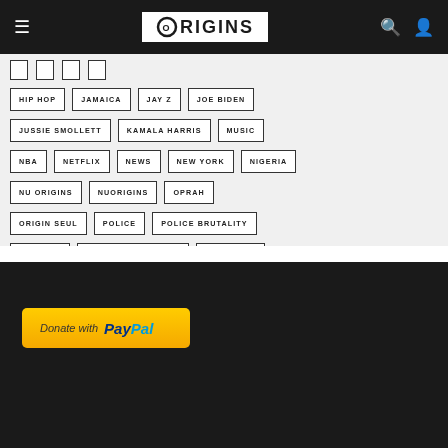ORIGINS (logo/navigation bar)
HIP HOP
JAMAICA
JAY Z
JOE BIDEN
JUSSIE SMOLLETT
KAMALA HARRIS
MUSIC
NBA
NETFLIX
NEWS
NEW YORK
NIGERIA
NU ORIGINS
NUORIGINS
OPRAH
ORIGIN SEUL
POLICE
POLICE BRUTALITY
POLITICS
POLITICS & SOCIETY
PRESIDENT
RACE
RACISM
SPORTS
TRUMP
[Figure (logo): Donate with PayPal button]